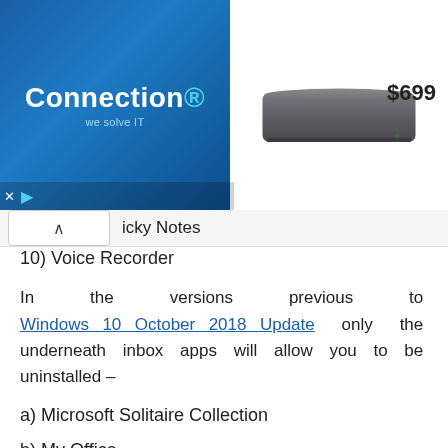[Figure (screenshot): Advertisement banner for Connection showing Apple Mac Mini product for $699. Left side has blue Connection logo with 'we solve IT' tagline. Center shows image of Apple Mac Mini. Price $699 shown on right. Bottom left has close (X) and play button controls.]
icky Notes
10) Voice Recorder
In the versions previous to Windows 10 October 2018 Update only the underneath inbox apps will allow you to be uninstalled –
a) Microsoft Solitaire Collection
b) My Office
c) OneNote
d) Print 3D